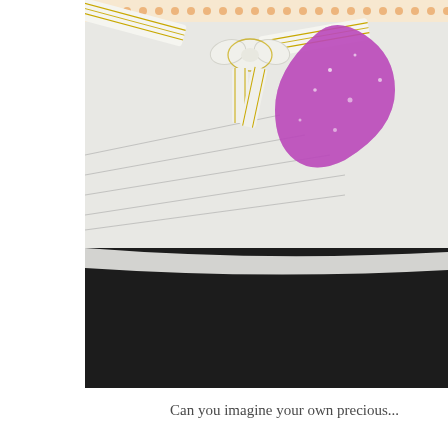[Figure (photo): Close-up photograph of a handmade greeting card featuring a light gray/cream card base with thin parallel lines, decorated with a white ribbon bow with gold trim, and a sparkly purple glitter heart shape. The bottom portion shows a dark black fabric or surface. The top edge has a dotted orange/pink border strip.]
Can you imagine your own precious...